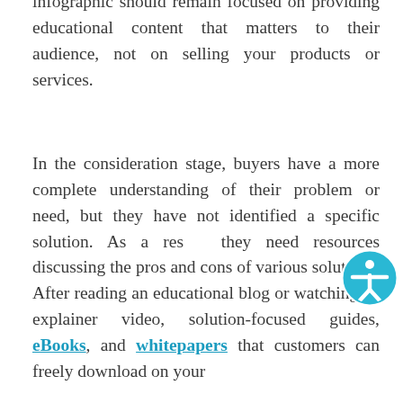infographic should remain focused on providing educational content that matters to their audience, not on selling your products or services.
In the consideration stage, buyers have a more complete understanding of their problem or need, but they have not identified a specific solution. As a result, they need resources discussing the pros and cons of various solutions. After reading an educational blog or watching an explainer video, solution-focused guides, eBooks, and whitepapers that customers can freely download on your website are the perfect content types. Y...
[Figure (illustration): Accessibility icon: a circular teal/cyan bordered button with a white figure of a person with arms outstretched, centered in the button]